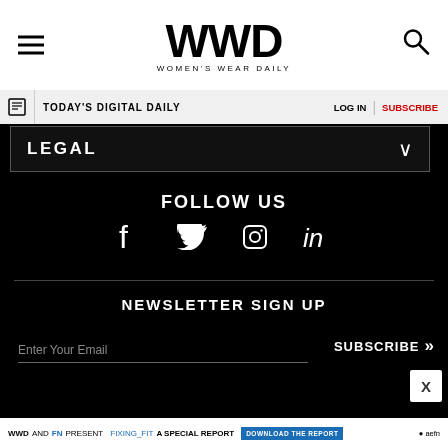WWD WOMEN'S WEAR DAILY
TODAY'S DIGITAL DAILY | LOG IN | SUBSCRIBE
LEGAL
FOLLOW US
[Figure (infographic): Social media icons: Facebook, Twitter, Instagram, LinkedIn]
NEWSLETTER SIGN UP
Enter Your Email
SUBSCRIBE >
WWD AND FN PRESENT FIXING_FIT A SPECIAL REPORT DOWNLOAD THE REPORT